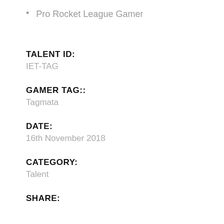Pro Rocket League Gamer
TALENT ID:
IET-TAG
GAMER TAG::
Tagmata
DATE:
16th November 2018
CATEGORY:
Talent
SHARE: